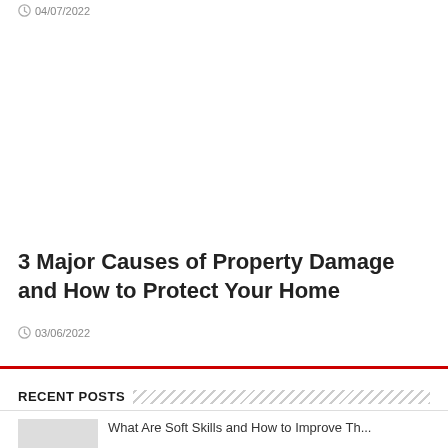04/07/2022
3 Major Causes of Property Damage and How to Protect Your Home
03/06/2022
RECENT POSTS
What Are Soft Skills and How to Improve Th...